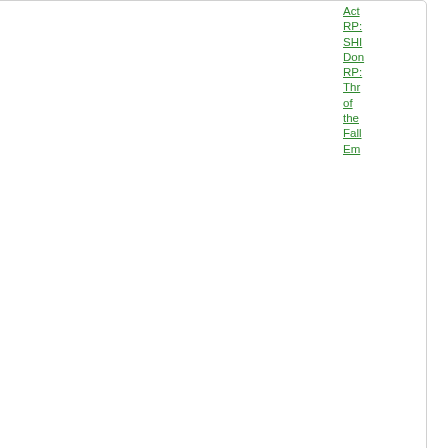Act RP: SHI Don RP: Thr of the Fall Em
[Figure (other): Show button and scroll-to-top arrow button]
[Figure (other): Ex-Nation forum avatar placeholder image with cross/plus design]
Yaak
Chargé d'Affaires

Posts: 489
Founded: Sep 19, 2021
Ex-Nation
QUOTE
by Yaak » Thu Mar 31, 2022 5:11 pm

Le
15:
Up
Do